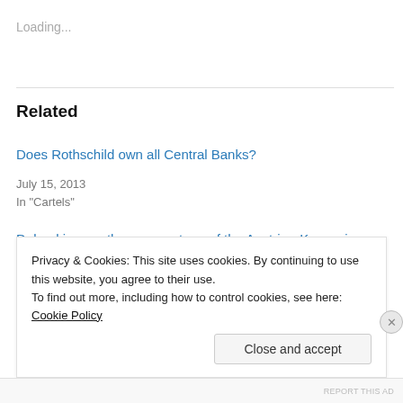Loading...
Related
Does Rothschild own all Central Banks?
July 15, 2013
In "Cartels"
Debunking another cornerstone of the Austrian-Keynesian dialectic: do Central Banks really control the Money Supply?
November 18, 2012
In "Austrian Economics"
Privacy & Cookies: This site uses cookies. By continuing to use this website, you agree to their use.
To find out more, including how to control cookies, see here: Cookie Policy
Close and accept